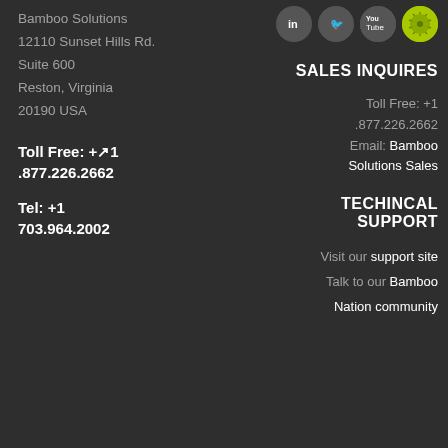[Figure (logo): Four social media icons in circles: LinkedIn, Twitter, YouTube, and a green kiwi/custom icon]
Bamboo Solutions
12110 Sunset Hills Rd.
Suite 600
Reston, Virginia
20190 USA
Toll Free: +🔲1 .877.226.2662
Tel: +1 703.964.2002
SALES INQUIRES
Toll Free: +1 .877.226.2662
Email: Bamboo Solutions Sales
TECHINCAL SUPPORT
Visit our support site
Talk to our Bamboo Nation community